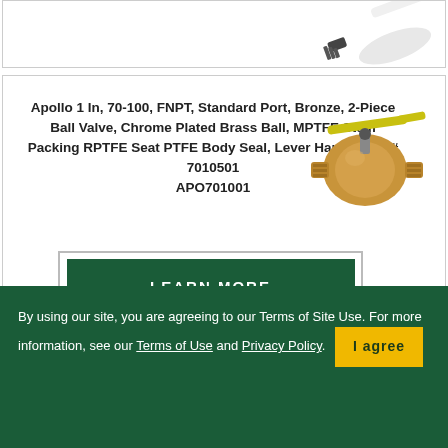[Figure (photo): Partial view of a white handheld tool or brush in the top product card]
Apollo 1 In, 70-100, FNPT, Standard Port, Bronze, 2-Piece Ball Valve, Chrome Plated Brass Ball, MPTFE Stem Packing RPTFE Seat PTFE Body Seal, Lever Handle, Mfr.# 7010501
APO701001
[Figure (photo): Bronze ball valve with yellow lever handle]
LEARN MORE
By using our site, you are agreeing to our Terms of Site Use. For more information, see our Terms of Use and Privacy Policy.
I agree